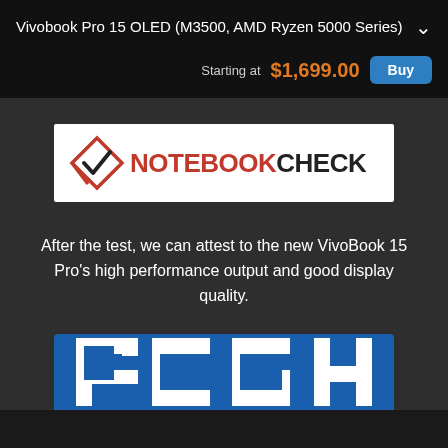Vivobook Pro 15 OLED (M3500, AMD Ryzen 5000 Series)
Starting at  $1,699.00  Buy
[Figure (logo): NotebookCheck logo: red checkmark icon with 'NOTEBOOK' in red bold and 'CHECK' in dark bold text on white background]
After the test, we can attest to the new VivoBook 15 Pro's high performance output and good display quality.
[Figure (logo): PCGH logo: large white bold letters 'PCGH' on blue background, partially visible (cropped at bottom)]